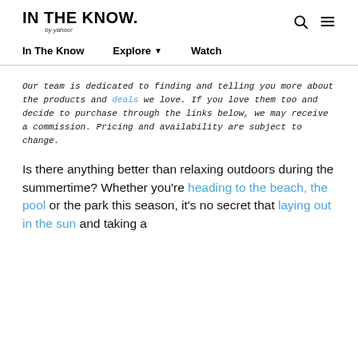IN THE KNOW. by yahoo!
In The Know   Explore ▾   Watch
Our team is dedicated to finding and telling you more about the products and deals we love. If you love them too and decide to purchase through the links below, we may receive a commission. Pricing and availability are subject to change.
Is there anything better than relaxing outdoors during the summertime? Whether you're heading to the beach, the pool or the park this season, it's no secret that laying out in the sun and taking a little...